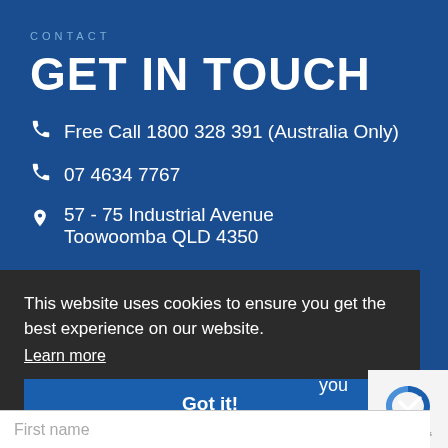CONTACT
GET IN TOUCH
Free Call 1800 328 391 (Australia Only)
07 4634 7767
57 - 75 Industrial Avenue
Toowoomba QLD 4350
This website uses cookies to ensure you get the best experience on our website.
Learn more
Got it!
you
First name